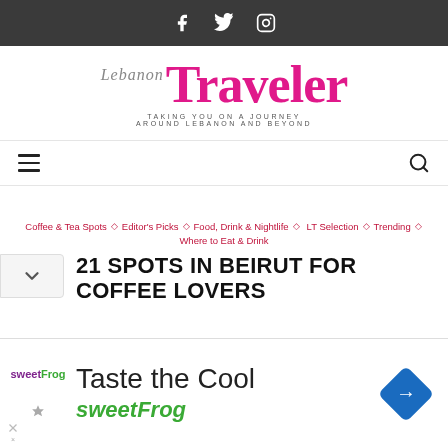Social icons: Facebook, Twitter, Instagram
[Figure (logo): Lebanon Traveler logo - 'Lebanon Traveler' with tagline 'Taking you on a journey around Lebanon and beyond']
Navigation bar with hamburger menu and search icon
Coffee & Tea Spots  ◇  Editor's Picks  ◇  Food, Drink & Nightlife  ◇  LT Selection  ◇  Trending  ◇  Where to Eat & Drink
21 SPOTS IN BEIRUT FOR COFFEE LOVERS
[Figure (infographic): Advertisement banner: sweetFrog - Taste the Cool]